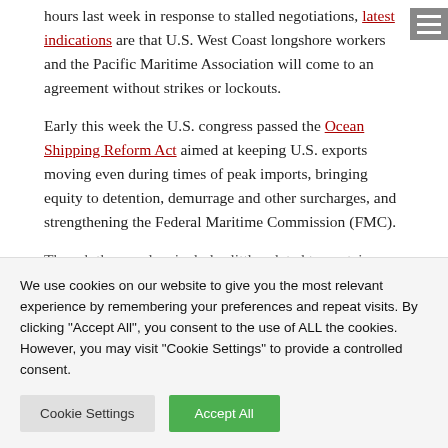hours last week in response to stalled negotiations, latest indications are that U.S. West Coast longshore workers and the Pacific Maritime Association will come to an agreement without strikes or lockouts.
Early this week the U.S. congress passed the Ocean Shipping Reform Act aimed at keeping U.S. exports moving even during times of peak imports, bringing equity to detention, demurrage and other surcharges, and strengthening the Federal Maritime Commission (FMC).
Though the new law includes little related to container
We use cookies on our website to give you the most relevant experience by remembering your preferences and repeat visits. By clicking "Accept All", you consent to the use of ALL the cookies. However, you may visit "Cookie Settings" to provide a controlled consent.